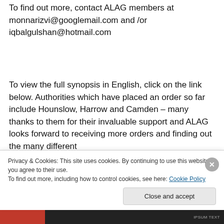To find out more, contact ALAG members at monnarizvi@googlemail.com and /or iqbalgulshan@hotmail.com
To view the full synopsis in English, click on the link below. Authorities which have placed an order so far include Hounslow, Harrow and Camden – many thanks to them for their invaluable support and ALAG looks forward to receiving more orders and finding out the many different
Privacy & Cookies: This site uses cookies. By continuing to use this website, you agree to their use. To find out more, including how to control cookies, see here: Cookie Policy
Close and accept